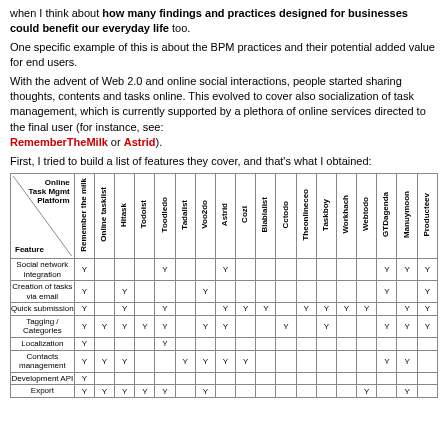when I think about how many findings and practices designed for businesses could benefit our everyday life too. One specific example of this is about the BPM practices and their potential added value for end users. With the advent of Web 2.0 and online social interactions, people started sharing thoughts, contents and tasks online. This evolved to cover also socialization of task management, which is currently supported by a plethora of online services directed to the final user (for instance, see: RememberTheMilk or Astrid). First, I tried to build a list of features they cover, and that's what I obtained:
| Online Task Mgmt Platform / Feature | Remember the milk | Online tasklist | Hitask | Todoist | Toodledo | Tadalist | Voo2do | Astrid | Cozi | Blablalist | Cctodo | Theonlineceo | Taskboy | Workhach | Webtodo | GTDagenda | Manuymoon | Producteev |
| --- | --- | --- | --- | --- | --- | --- | --- | --- | --- | --- | --- | --- | --- | --- | --- | --- | --- | --- |
| Social network integration | Y |  |  |  | Y |  |  | Y |  |  |  |  |  |  |  | Y | Y | Y |
| Creation of tasks via email | Y |  | Y |  |  |  | Y |  |  |  |  |  |  |  |  | Y |  | Y |
| Quick submission | Y |  | Y |  | Y |  |  | Y | Y | Y |  | Y | Y | Y | Y |  | Y | Y |
| Tagging / Categories | Y | Y | Y | Y | Y |  | Y | Y |  |  | Y |  | Y |  |  | Y | Y | Y |
| Localization | Y |  |  |  | Y |  |  |  |  |  |  |  |  |  |  |  |  |  |
| Contacts management | Y | Y | Y |  |  | Y | Y | Y | Y |  |  |  |  |  |  | Y | Y |  |
| Development API | Y |  |  |  |  |  |  |  |  |  |  |  |  |  |  |  |  |  |
| Export | Y | Y | Y | Y | Y |  | Y |  |  |  |  |  |  |  | Y |  | Y |  |